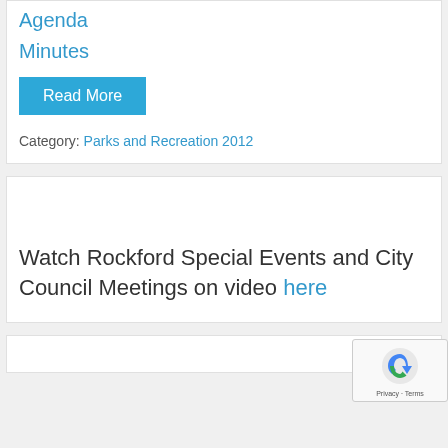Agenda
Minutes
Read More
Category: Parks and Recreation 2012
Watch Rockford Special Events and City Council Meetings on video here